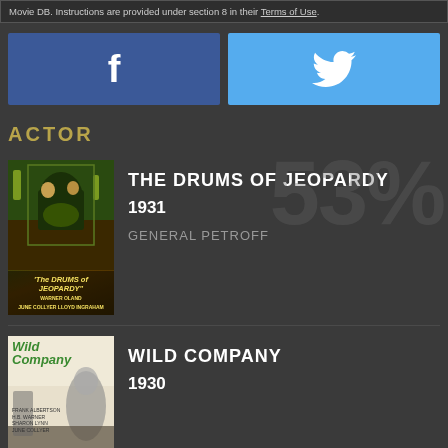Movie DB. Instructions are provided under section 8 in their Terms of Use.
[Figure (screenshot): Facebook share button (blue)]
[Figure (screenshot): Twitter share button (light blue)]
53%
ACTOR
[Figure (photo): Movie poster for The Drums of Jeopardy (1931)]
THE DRUMS OF JEOPARDY
1931
GENERAL PETROFF
[Figure (photo): Movie poster for Wild Company (1930)]
WILD COMPANY
1930